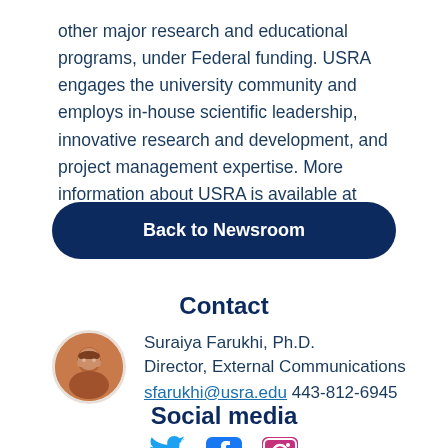other major research and educational programs, under Federal funding. USRA engages the university community and employs in-house scientific leadership, innovative research and development, and project management expertise. More information about USRA is available at www.usra.edu.
Back to Newsroom
Contact
[Figure (photo): Circular portrait photo of Suraiya Farukhi, Ph.D.]
Suraiya Farukhi, Ph.D.
Director, External Communications
sfarukhi@usra.edu 443-812-6945
Social media